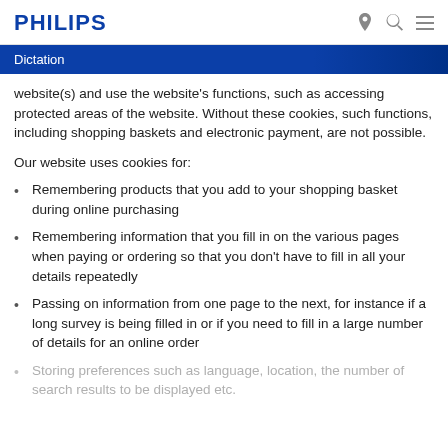PHILIPS
Dictation
website(s) and use the website's functions, such as accessing protected areas of the website. Without these cookies, such functions, including shopping baskets and electronic payment, are not possible.
Our website uses cookies for:
Remembering products that you add to your shopping basket during online purchasing
Remembering information that you fill in on the various pages when paying or ordering so that you don't have to fill in all your details repeatedly
Passing on information from one page to the next, for instance if a long survey is being filled in or if you need to fill in a large number of details for an online order
Storing preferences such as language, location, the number of search results to be displayed etc.